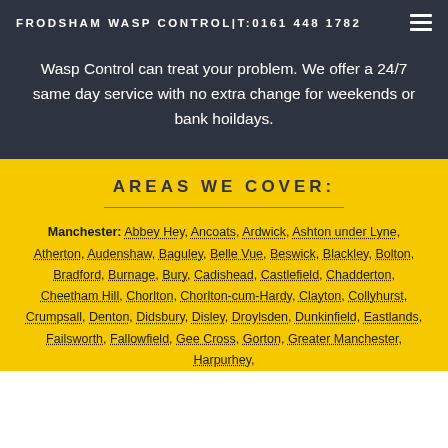FRODSHAM WASP CONTROL|T:0161 448 1782
Wasp Control can treat your problem. We offer a 24/7 same day service with no extra change for weekends or bank hoildays.
AREAS WE COVER:
Manchester: Abbey Hey, Ancoats, Ardwick, Ashton under Lyne, Atherton, Audenshaw, Baguley, Belle Vue, Beswick, Blackley, Bolton, Bradford, Burnage, Bury, Cadishead, Castlefield, Chadderton, Cheetham Hill, Chorlton, Chorlton-cum-Hardy, Clayton, Collyhurst, Crumpsall, Denton, Didsbury, Disley, Droylsden, Dunkinfield, Eastlands, Failsworth, Fallowfield, Gee Cross, Gorton, Greater Manchester, Harpurhey,